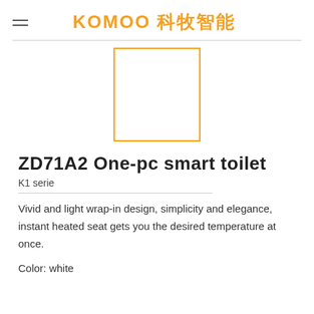KOMOO 科牧智能
[Figure (photo): Product image placeholder — orange-bordered white rectangle representing the ZD71A2 One-pc smart toilet product photo]
ZD71A2 One-pc smart toilet
K1 serie
Vivid and light wrap-in design, simplicity and elegance, instant heated seat gets you the desired temperature at once.
Color: white